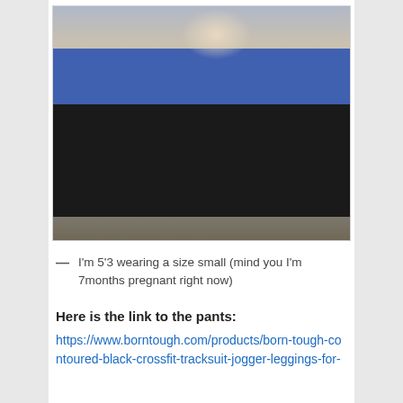[Figure (photo): A woman taking a mirror selfie in a fitting room, wearing a blue short-sleeve top and black leggings, barefoot, with long blonde hair.]
— I'm 5'3 wearing a size small (mind you I'm 7months pregnant right now)
Here is the link to the pants:
https://www.borntough.com/products/born-tough-contoured-black-crossfit-tracksuit-jogger-leggings-for-